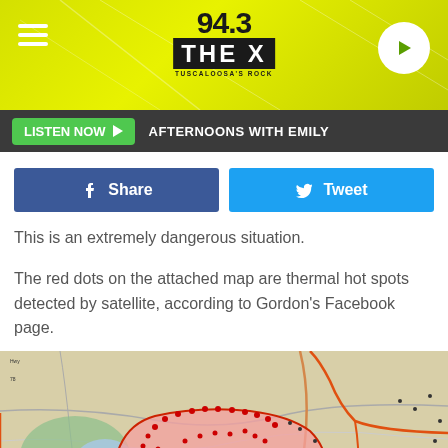94.3 THE X
LISTEN NOW  AFTERNOONS WITH EMILY
Share  Tweet
This is an extremely dangerous situation.
The red dots on the attached map are thermal hot spots detected by satellite, according to Gordon's Facebook page.
[Figure (map): Topographic map showing a wildfire perimeter with thermal hot spots indicated by red dots, surrounded by roads and terrain features.]